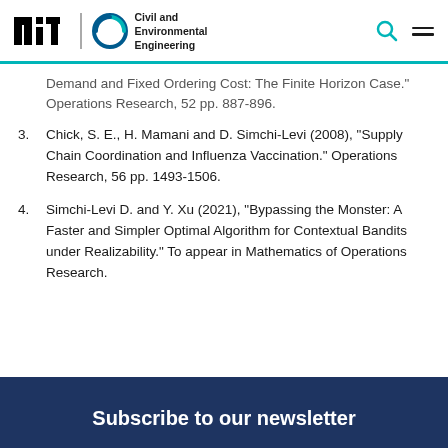MIT Civil and Environmental Engineering
Demand and Fixed Ordering Cost: The Finite Horizon Case.” Operations Research, 52 pp. 887-896.
3. Chick, S. E., H. Mamani and D. Simchi-Levi (2008), “Supply Chain Coordination and Influenza Vaccination.” Operations Research, 56 pp. 1493-1506.
4. Simchi-Levi D. and Y. Xu (2021), “Bypassing the Monster: A Faster and Simpler Optimal Algorithm for Contextual Bandits under Realizability.” To appear in Mathematics of Operations Research.
Subscribe to our newsletter